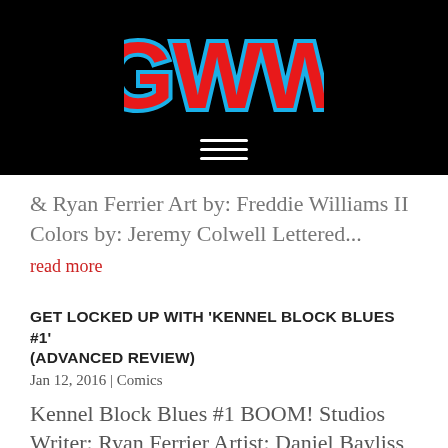[Figure (logo): GWW logo in red with blue outline on black background, with hamburger menu icon below]
& Ryan Ferrier Art by: Freddie Williams II Colors by: Jeremy Colwell Lettered...
read more
GET LOCKED UP WITH 'KENNEL BLOCK BLUES #1' (ADVANCED REVIEW)
Jan 12, 2016 | Comics
Kennel Block Blues #1 BOOM! Studios Writer: Ryan Ferrier Artist: Daniel Bayliss